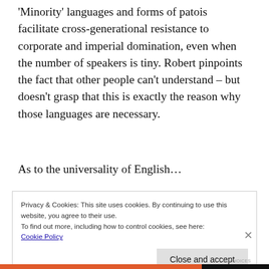'Minority' languages and forms of patois facilitate cross-generational resistance to corporate and imperial domination, even when the number of speakers is tiny. Robert pinpoints the fact that other people can't understand – but doesn't grasp that this is exactly the reason why those languages are necessary.
As to the universality of English…
Privacy & Cookies: This site uses cookies. By continuing to use this website, you agree to their use.
To find out more, including how to control cookies, see here:
Cookie Policy